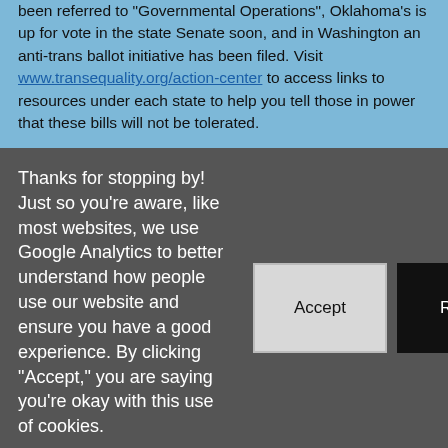been referred to 'Governmental Operations', Oklahoma's is up for vote in the state Senate soon, and in Washington an anti-trans ballot initiative has been filed. Visit www.transequality.org/action-center to access links to resources under each state to help you tell those in power that these bills will not be tolerated.
Thanks for stopping by! Just so you're aware, like most websites, we use Google Analytics to better understand how people use our website and ensure you have a good experience. By clicking "Accept," you are saying you're okay with this use of cookies.